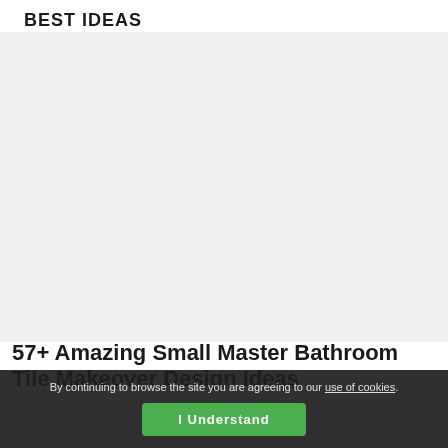BEST IDEAS
[Figure (photo): Large photograph area showing bathroom tile makeover content]
57+ Amazing Small Master Bathroom Tile Makeover Design Ideas
By continuing to browse the site you are agreeing to our use of cookies.
I Understand